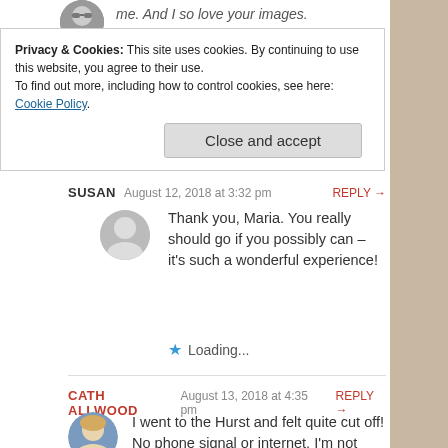me. And I so love your images.
Privacy & Cookies: This site uses cookies. By continuing to use this website, you agree to their use.
To find out more, including how to control cookies, see here: Cookie Policy
Close and accept
SUSAN  August 12, 2018 at 3:32 pm  REPLY →
Thank you, Maria. You really should go if you possibly can – it's such a wonderful experience!
Loading...
CATH ALLWOOD  August 13, 2018 at 4:35 pm  REPLY →
I went to the Hurst and felt quite cut off! No phone signal or internet. I'm not sure I